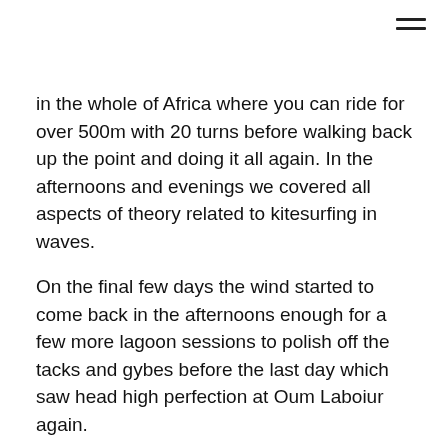in the whole of Africa where you can ride for over 500m with 20 turns before walking back up the point and doing it all again. In the afternoons and evenings we covered all aspects of theory related to kitesurfing in waves.
On the final few days the wind started to come back in the afternoons enough for a few more lagoon sessions to polish off the tacks and gybes before the last day which saw head high perfection at Oum Laboiur again.
A great trip was had by all with amazing food, nice people, a great place to stay at the Surf House and action on all but one day. We were pretty unlucky with the wind as it had been blowing non-stop for 3 months, but that's the way it goes and we still had some great